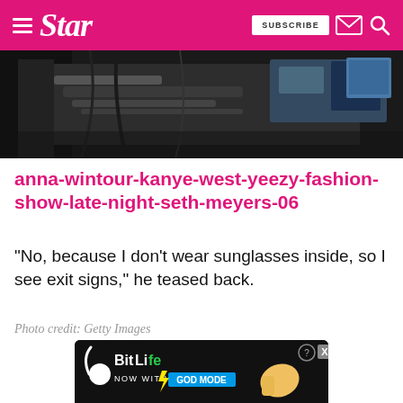Star — SUBSCRIBE
[Figure (photo): Behind-the-scenes photo showing camera equipment, cables, and technical gear in a dark studio setting]
anna-wintour-kanye-west-yeezy-fashion-show-late-night-seth-meyers-06
“No, because I don’t wear sunglasses inside, so I see exit signs,” he teased back.
Photo credit: Getty Images
[Figure (screenshot): BitLife advertisement banner — NOW WITH GOD MODE]